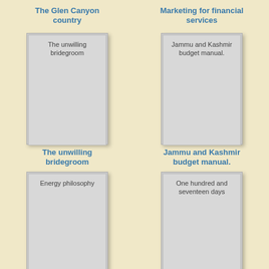The Glen Canyon country
Marketing for financial services
[Figure (illustration): Book cover placeholder for 'The unwilling bridegroom']
[Figure (illustration): Book cover placeholder for 'Jammu and Kashmir budget manual.']
The unwilling bridegroom
Jammu and Kashmir budget manual.
[Figure (illustration): Book cover placeholder for 'Energy philosophy']
[Figure (illustration): Book cover placeholder for 'One hundred and seventeen days']